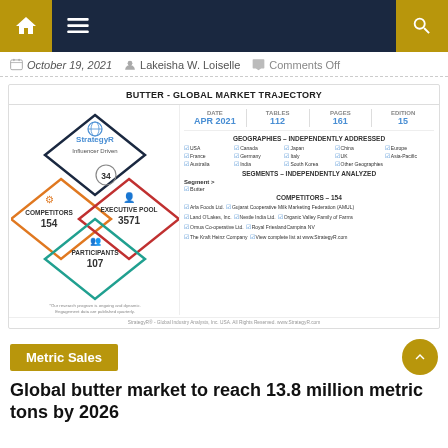Navigation bar with home, menu, and search icons
October 19, 2021   Lakeisha W. Loiselle   Comments Off
[Figure (infographic): Butter - Global Market Trajectory infographic showing StrategyR Influencer Driven logo with 34 countries, Competitors 154, Executive Pool 3571, Participants 107. Right side: Date APR 2021, Tables 112, Pages 161, Edition 15. Geographies independently addressed: USA, Canada, Japan, China, Europe, France, Germany, Italy, UK, Asia-Pacific, Australia, India, South Korea, Other Geographies. Segments: Butter. Competitors 154 including Arla Foods Ltd., Gujarat Cooperative Milk Marketing Federation (AMUL), Land O'Lakes Inc., Nestle India Ltd., Organic Valley Family of Farms, Orrua Co-operative Ltd., Royal FrieslandCampina NV, The Kraft Heinz Company, View complete list at www.StrategyR.com]
Metric Sales
Global butter market to reach 13.8 million metric tons by 2026